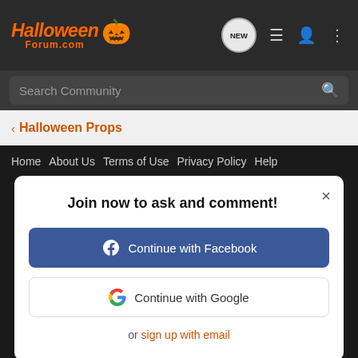HalloweenForum.com [navigation icons: NEW, list, user, dots]
Search Community
< Halloween Props
Home   About Us   Terms of Use   Privacy Policy   Help
Join now to ask and comment!
Continue with Facebook
Continue with Google
or sign up with email